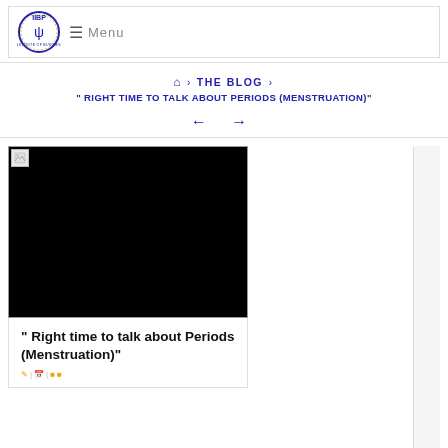IIBP | Menu
🏠 › THE BLOG › " RIGHT TIME TO TALK ABOUT PERIODS (MENSTRUATION)"
← →
[Figure (photo): Black image placeholder with broken image icon in top-left corner]
" Right time to talk about Periods (Menstruation)"
author icon | date icon | category icons